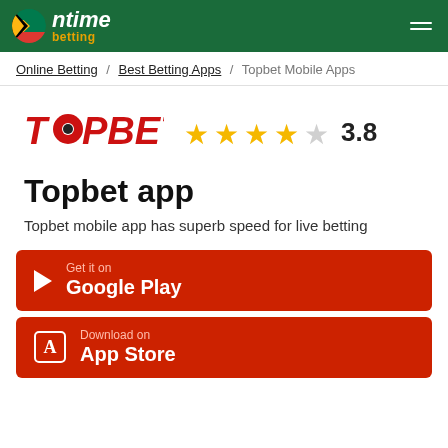ntime betting
Online Betting / Best Betting Apps / Topbet Mobile Apps
[Figure (logo): TOPBET logo in red italic bold text with a soccer ball replacing the O]
3.8 stars rating
Topbet app
Topbet mobile app has superb speed for live betting
Get it on Google Play
Download on App Store